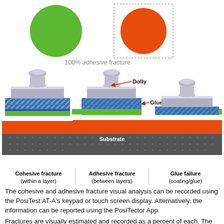[Figure (illustration): Top section showing two circles: a plain green circle (left) and a red/orange circle inside a dotted-border box (right), representing 100% adhesive fracture. Below is a diagram of three pull-off test dollies attached to layered coating systems on a substrate, labeled with Dolly, Glue, and Substrate. The three scenarios shown are: Cohesive fracture (within a layer), Adhesive fracture (between layers), and Glue failure (coating/glue).]
100% adhesive fracture
Cohesive fracture (within a layer) | Adhesive fracture (between layers) | Glue failure (coating/glue)
The cohesive and adhesive fracture visual analysis can be recorded using the PosiTest AT-A's keypad or touch screen display. Alternatively, the information can be reported using the PosiTector App.
Fractures are visually estimated and recorded as a percent of each. The two layer example below illustrates a cohesive